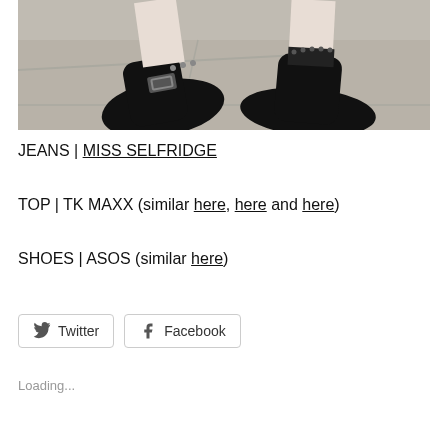[Figure (photo): Close-up photo of feet wearing black leather loafer-style shoes with buckle detail and studs, standing on concrete pavement]
JEANS | MISS SELFRIDGE
TOP | TK MAXX (similar here, here and here)
SHOES | ASOS (similar here)
Twitter  Facebook
Loading...